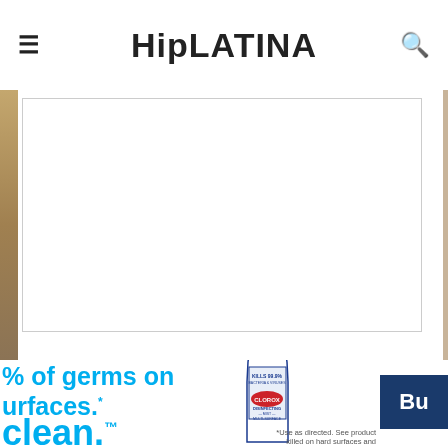HipLATINA
[Figure (screenshot): Instagram embed placeholder box with Instagram camera icon at bottom center]
[Figure (illustration): Clorox Disinfecting Mist Multi-Surface spray bottle illustration with text KILLS 99.9% BACTERIA & VIRUSES]
% of germs on surfaces.*
clean.™
Buy
*Use as directed. See product label. killed on hard surfaces and